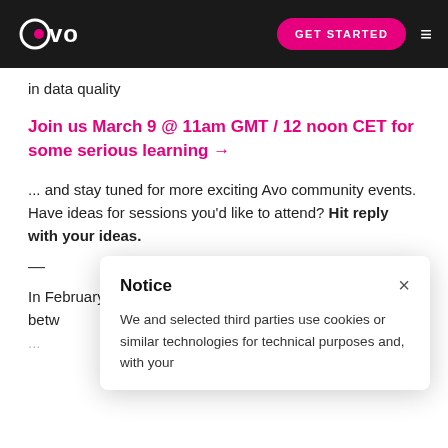Avo | GET STARTED
in data quality
Join us March 9 @ 11am GMT / 12 noon CET for some serious learning →
... and stay tuned for more exciting Avo community events. Have ideas for sessions you'd like to attend? Hit reply with your ideas.
—
In February we of designing a revamped nav navigate betw
Notice
We and selected third parties use cookies or similar technologies for technical purposes and, with your